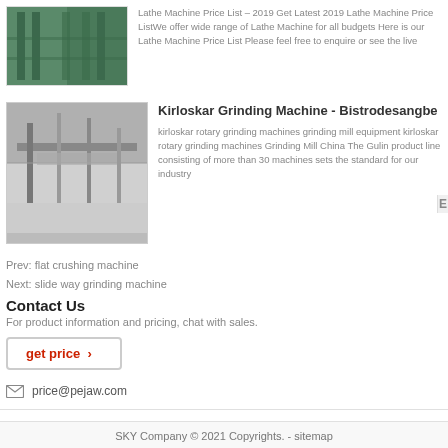[Figure (photo): Green industrial machine or cable reel, partial view at top]
Lathe Machine Price List – 2019 Get Latest 2019 Lathe Machine Price ListWe offer wide range of Lathe Machine for all budgets Here is our Lathe Machine Price List Please feel free to enquire or see the live
[Figure (photo): Black and white photo of Kirloskar grinding machine in industrial setting]
Kirloskar Grinding Machine - Bistrodesangbe
kirloskar rotary grinding machines grinding mill equipment kirloskar rotary grinding machines Grinding Mill China The Gulin product line consisting of more than 30 machines sets the standard for our industry
Prev: flat crushing machine
Next: slide way grinding machine
Contact Us
For product information and pricing, chat with sales.
get price ›
price@pejaw.com
SKY Company © 2021 Copyrights. - sitemap